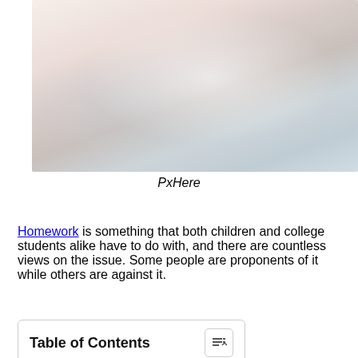[Figure (photo): A soft-focus photograph of hands writing or doing homework, with white and light bluish-pink tones, very light and washed out.]
PxHere
Homework is something that both children and college students alike have to do with, and there are countless views on the issue. Some people are proponents of it while others are against it.
Table of Contents